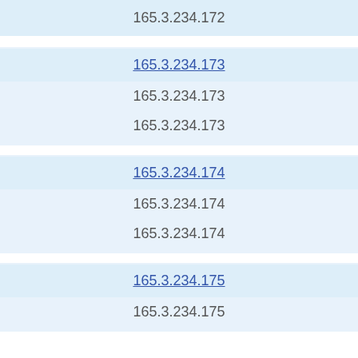165.3.234.172
165.3.234.173
165.3.234.173
165.3.234.173
165.3.234.174
165.3.234.174
165.3.234.174
165.3.234.175
165.3.234.175